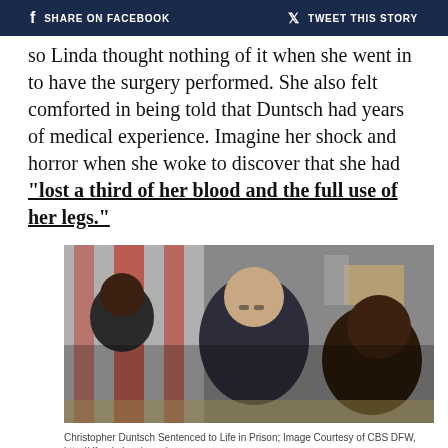SHARE ON FACEBOOK   TWEET THIS STORY
so Linda thought nothing of it when she went in to have the surgery performed. She also felt comforted in being told that Duntsch had years of medical experience. Imagine her shock and horror when she woke to discover that she had “lost a third of her blood and the full use of her legs.”
[Figure (photo): Christopher Duntsch in a courtroom setting with other individuals, appearing to look down at documents.]
Christopher Duntsch Sentenced to Life in Prison; Image Courtesy of CBS DFW, http://dfw.cbslocal.com/
However, the true horror of her situation came to light when Dr. Robert Henderson went in to treat her botched surgery, and he had some very alarming things to say.